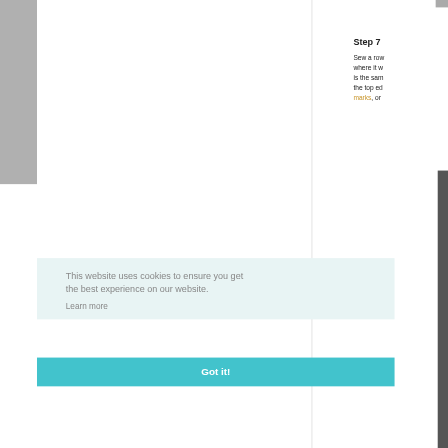Step 7
Sew a row where it w is the sam the top ed marks, or
This website uses cookies to ensure you get the best experience on our website.
Learn more
Got it!